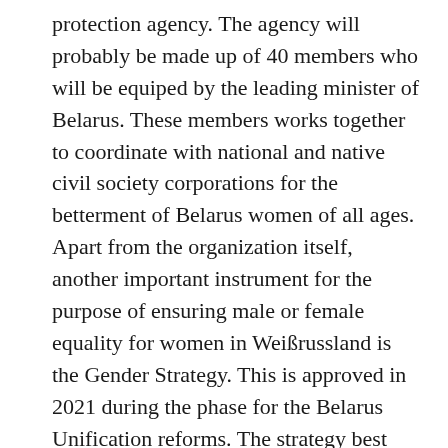protection agency. The agency will probably be made up of 40 members who will be equiped by the leading minister of Belarus. These members works together to coordinate with national and native civil society corporations for the betterment of Belarus women of all ages. Apart from the organization itself, another important instrument for the purpose of ensuring male or female equality for women in Weißrussland is the Gender Strategy. This is approved in 2021 during the phase for the Belarus Unification reforms. The strategy best parts key parts of importance pertaining to fulfilling the goals of full participation in the empowerment process.